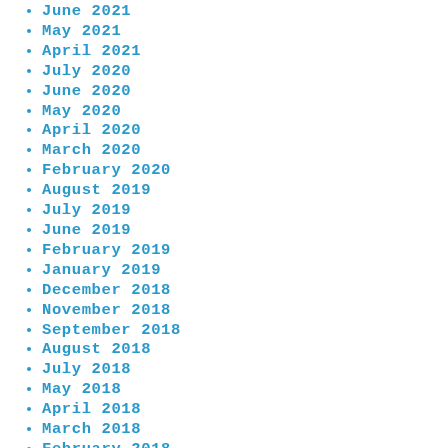June 2021
May 2021
April 2021
July 2020
June 2020
May 2020
April 2020
March 2020
February 2020
August 2019
July 2019
June 2019
February 2019
January 2019
December 2018
November 2018
September 2018
August 2018
July 2018
May 2018
April 2018
March 2018
February 2018
January 2018
September 2017
July 2017